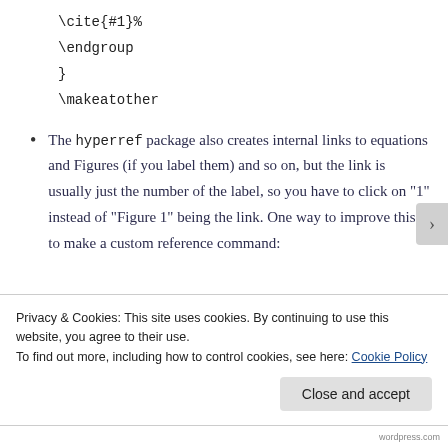\cite{#1}%
\endgroup
}
\makeatother
The hyperref package also creates internal links to equations and Figures (if you label them) and so on, but the link is usually just the number of the label, so you have to click on “1” instead of “Figure 1” being the link. One way to improve this is to make a custom reference command:
Privacy & Cookies: This site uses cookies. By continuing to use this website, you agree to their use.
To find out more, including how to control cookies, see here: Cookie Policy